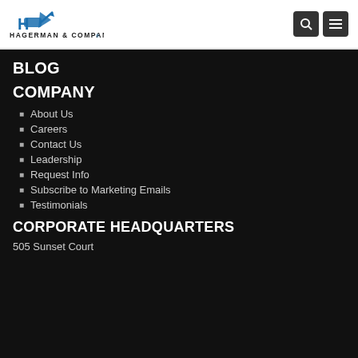[Figure (logo): Hagerman & Company logo with stylized H and arrow icon]
[Figure (other): Search icon button (magnifying glass) and menu icon button (hamburger) in dark square buttons]
BLOG
COMPANY
About Us
Careers
Contact Us
Leadership
Request Info
Subscribe to Marketing Emails
Testimonials
CORPORATE HEADQUARTERS
505 Sunset Court